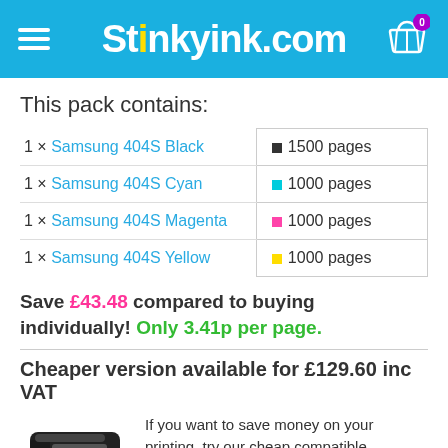Stinkyink.com
This pack contains:
| Item | Pages |
| --- | --- |
| 1 × Samsung 404S Black | 1500 pages |
| 1 × Samsung 404S Cyan | 1000 pages |
| 1 × Samsung 404S Magenta | 1000 pages |
| 1 × Samsung 404S Yellow | 1000 pages |
Save £43.48 compared to buying individually! Only 3.41p per page.
Cheaper version available for £129.60 inc VAT
If you want to save money on your printing, try our cheap compatible